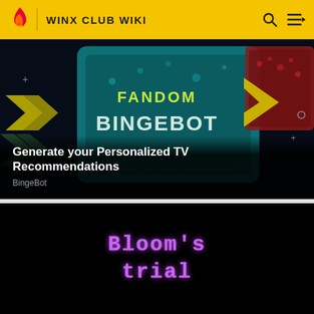WINX CLUB WIKI
[Figure (screenshot): Fandom BingeBot promotional banner with teal game-console UI, yellow and red arrow icons on dark background. Text reads FANDOM BINGEBOT.]
Generate your Personalized TV Recommendations
BingeBot
[Figure (screenshot): Black background with purple pixelated/dotted text reading Bloom's trial]